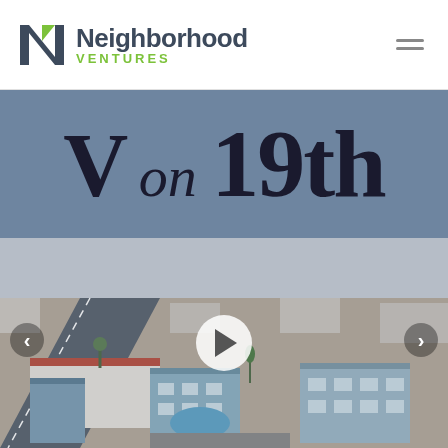[Figure (logo): Neighborhood Ventures logo with stylized N icon in dark grey/green and company name with VENTURES in green uppercase letters]
V on 19th
[Figure (photo): Aerial drone photograph of an apartment complex called V on 19th showing a multi-building residential property with a pool courtyard, parking areas, blue-grey building exteriors with red tile roofs, and surrounding urban neighborhood streets]